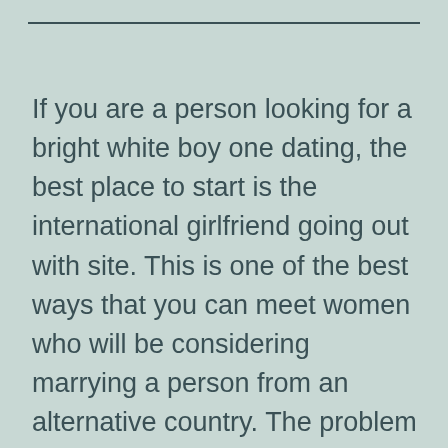If you are a person looking for a bright white boy one dating, the best place to start is the international girlfriend going out with site. This is one of the best ways that you can meet women who will be considering marrying a person from an alternative country. The problem is, many websites are certainly not of the best quality. Some of these sites are created as a scam and may only give you details about how to give money or perhaps